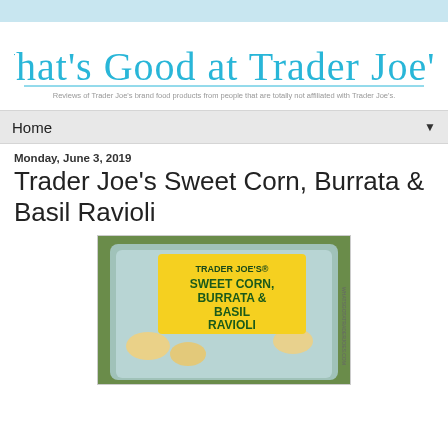[Figure (logo): What's Good at Trader Joe's? blog logo in cursive teal font with tagline: Reviews of Trader Joe's brand food products from people that are totally not affiliated with Trader Joe's.]
Home ▼
Monday, June 3, 2019
Trader Joe's Sweet Corn, Burrata & Basil Ravioli
[Figure (photo): Photo of Trader Joe's Sweet Corn, Burrata & Basil Ravioli product packaging in a clear plastic tray with a yellow label.]